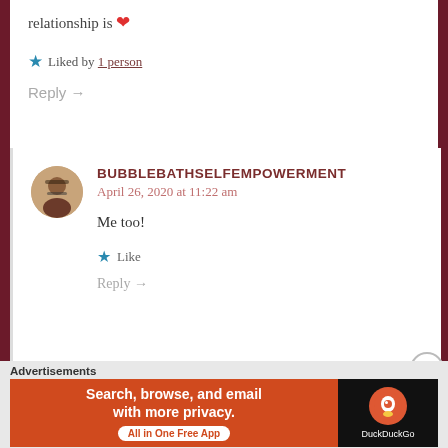relationship is ❤
★ Liked by 1 person
Reply →
BUBBLEBATHSELFEMPOWERMENT
April 26, 2020 at 11:22 am
Me too!
★ Like
Reply →
Advertisements
[Figure (screenshot): DuckDuckGo advertisement banner: 'Search, browse, and email with more privacy. All in One Free App' with DuckDuckGo logo on dark background.]